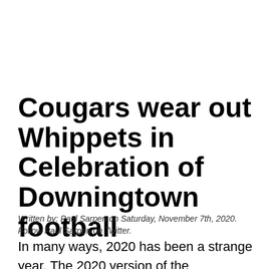Cougars wear out Whippets in Celebration of Downingtown football
Written by: Paul Sarpen on Saturday, November 7th, 2020. Follow Paul Sarpen on Twitter.
In many ways, 2020 has been a strange year. The 2020 version of the “Celebration of Downingtown Football” would be no different. In most years this passionate rivalry has massive playoff implications. This year is the first time